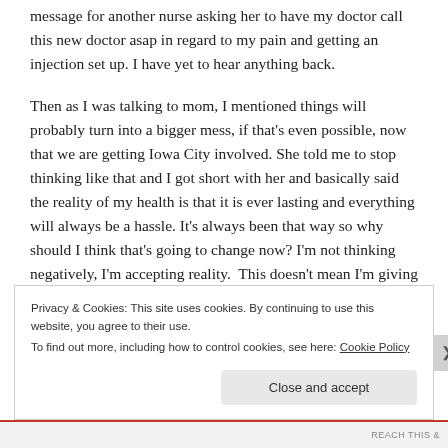message for another nurse asking her to have my doctor call this new doctor asap in regard to my pain and getting an injection set up. I have yet to hear anything back.
Then as I was talking to mom, I mentioned things will probably turn into a bigger mess, if that’s even possible, now that we are getting Iowa City involved. She told me to stop thinking like that and I got short with her and basically said the reality of my health is that it is ever lasting and everything will always be a hassle. It’s always been that way so why should I think that’s going to change now? I’m not thinking negatively, I’m accepting reality.  This doesn’t mean I’m giving up though.
Privacy & Cookies: This site uses cookies. By continuing to use this website, you agree to their use.
To find out more, including how to control cookies, see here: Cookie Policy